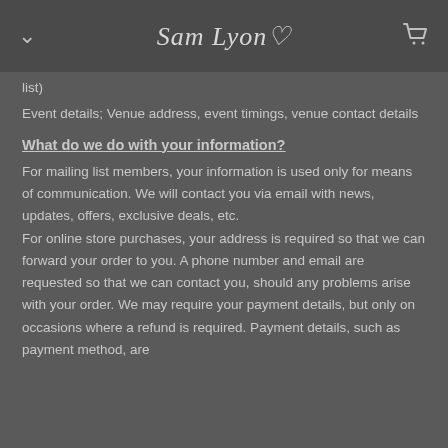Sam Lyon — navigation header with chevron and cart icon
list)
Event details; Venue address, event timings, venue contact details
What do we do with your information?
For mailing list members, your information is used only for means of communication.  We will contact you via email with news, updates, offers, exclusive deals, etc.
For online store purchases, your address is required so that we can forward your order to you.  A phone number and email are requested so that we can contact you, should any problems arise with your order.  We may require your payment details, but only on occasions where a refund is required.  Payment details, such as payment method, are